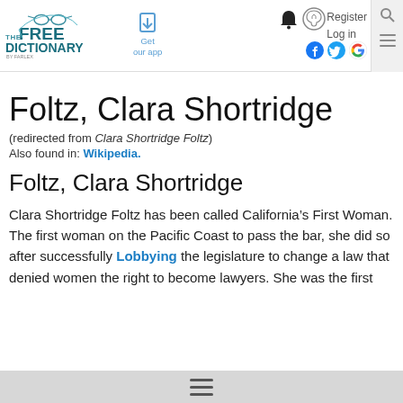The Free Dictionary by Farlex — Get our app — Register Log in
Foltz, Clara Shortridge
(redirected from Clara Shortridge Foltz)
Also found in: Wikipedia.
Foltz, Clara Shortridge
Clara Shortridge Foltz has been called California’s First Woman. The first woman on the Pacific Coast to pass the bar, she did so after successfully Lobbying the legislature to change a law that denied women the right to become lawyers. She was the first … to serve as clerk of the judiciary…